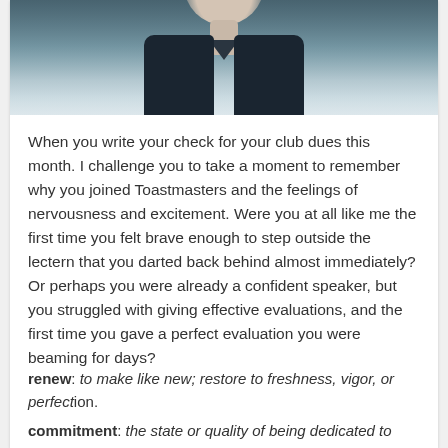[Figure (photo): A person wearing a dark jacket photographed from the neck/chest up; upper portion of head visible, cropped at top of image.]
When you write your check for your club dues this month. I challenge you to take a moment to remember why you joined Toastmasters and the feelings of nervousness and excitement. Were you at all like me the first time you felt brave enough to step outside the lectern that you darted back behind almost immediately? Or perhaps you were already a confident speaker, but you struggled with giving effective evaluations, and the first time you gave a perfect evaluation you were beaming for days?
renew: to make like new; restore to freshness, vigor, or perfection.
commitment: the state or quality of being dedicated to a cause, activity, etc.